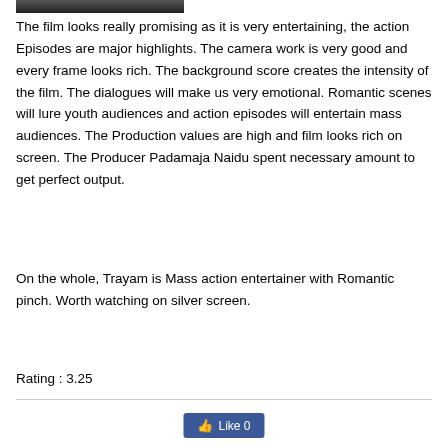[Figure (photo): Movie poster image strip at top of page]
The film looks really promising as it is very entertaining, the action Episodes are major highlights. The camera work is very good and every frame looks rich. The background score creates the intensity of the film. The dialogues will make us very emotional. Romantic scenes will lure youth audiences and action episodes will entertain mass audiences. The Production values are high and film looks rich on screen. The Producer Padamaja Naidu spent necessary amount to get perfect output.
On the whole, Trayam is Mass action entertainer with Romantic pinch. Worth watching on silver screen.
Rating : 3.25
[Figure (screenshot): Facebook Like button showing Like 0]